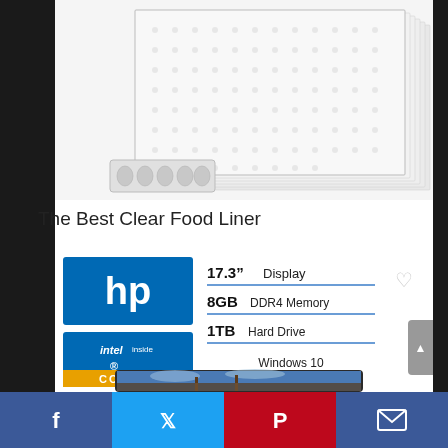[Figure (photo): Clear food liner product image showing multiple stacked transparent sheets and a small accessory tray, on white background with dark border]
The Best Clear Food Liner
[Figure (infographic): HP laptop product listing showing HP logo, Intel Core i3 badge, specs: 17.3 inch Display, 8GB DDR4 Memory, 1TB Hard Drive, Windows 10, with a heart/wishlist icon and laptop image showing windmill scene]
[Figure (photo): Bottom social sharing bar with Facebook, Twitter, Pinterest, and email icons]